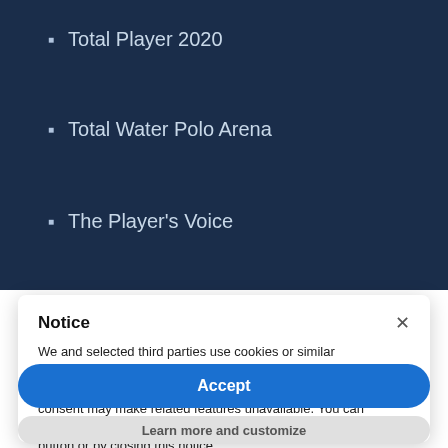Total Player 2020
Total Water Polo Arena
The Player's Voice
Notice
We and selected third parties use cookies or similar technologies for technical purposes and, with your consent, for other purposes as specified in the cookie policy. Denying consent may make related features unavailable. You can consent to the use of such technologies by using the “Accept” button or by closing this notice.